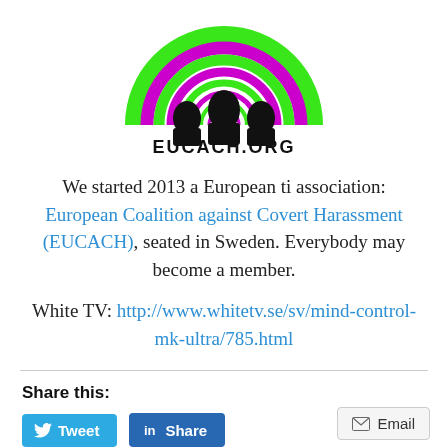[Figure (logo): EUCACH.ORG logo: green and purple spiral/hypnotic swirl at top with black silhouettes of people's heads and 'EUCACH.ORG' text below]
We started 2013 a European ti association: European Coalition against Covert Harassment (EUCACH), seated in Sweden. Everybody may become a member.
White TV: http://www.whitetv.se/sv/mind-control-mk-ultra/785.html
Share this:
Tweet
Share
Email